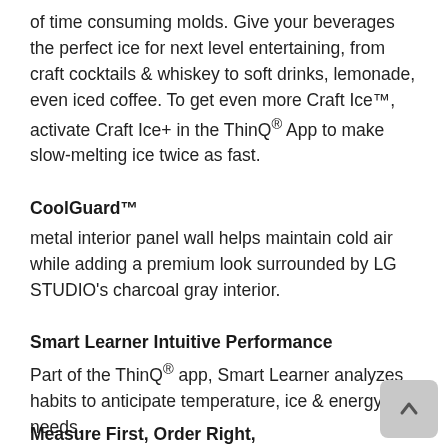of time consuming molds. Give your beverages the perfect ice for next level entertaining, from craft cocktails & whiskey to soft drinks, lemonade, even iced coffee. To get even more Craft Ice™, activate Craft Ice+ in the ThinQ® App to make slow-melting ice twice as fast.
CoolGuard™
metal interior panel wall helps maintain cold air while adding a premium look surrounded by LG STUDIO's charcoal gray interior.
Smart Learner Intuitive Performance
Part of the ThinQ® app, Smart Learner analyzes habits to anticipate temperature, ice & energy needs.
Measure First, Order Right,